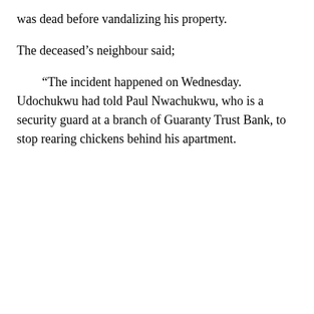was dead before vandalizing his property.
The deceased’s neighbour said;
“The incident happened on Wednesday. Udochukwu had told Paul Nwachukwu, who is a security guard at a branch of Guaranty Trust Bank, to stop rearing chickens behind his apartment.